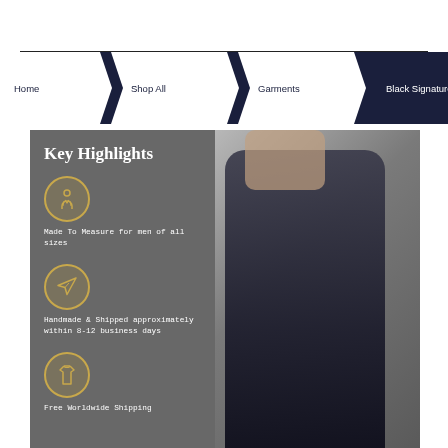Home / Shop All / Garments / Black Signature Dress Shirt
[Figure (infographic): Product key highlights infographic overlaid on a photo of a man wearing a black dress shirt. Left panel shows: 'Key Highlights' heading, icon of suited man with text 'Made To Measure for men of all sizes', airplane icon with text 'Handmade & Shipped approximately within 8-12 business days', shirt/garment icon with partial text 'Free Worldwide Shipping'.]